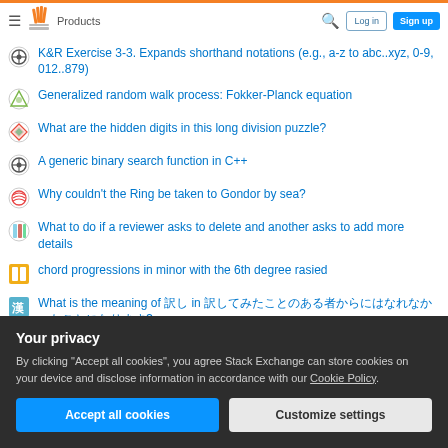Stack Exchange navigation bar with hamburger menu, logo, Products link, search icon, Log in and Sign up buttons
K&R Exercise 3-3. Expands shorthand notations (e.g., a-z to abc..xyz, 0-9, 012..879)
Generalized random walk process: Fokker-Planck equation
What are the hidden digits in this long division puzzle?
A generic binary search function in C++
Why couldn't the Ring be taken to Gondor by sea?
What to do if a reviewer asks to delete and another asks to add more details
chord progressions in minor with the 6th degree rasied
What is the meaning of 訳し in 訳してみたことのある者からにはなれなかったことになります?
Your privacy
By clicking "Accept all cookies", you agree Stack Exchange can store cookies on your device and disclose information in accordance with our Cookie Policy.
Accept all cookies | Customize settings